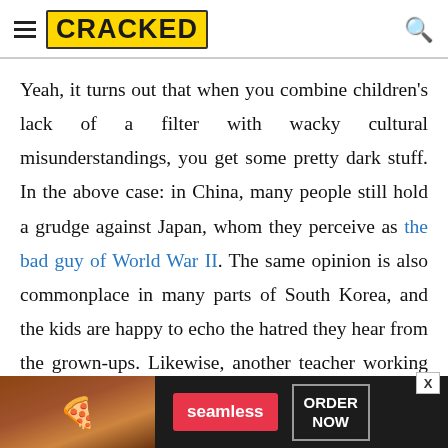CRACKED
Yeah, it turns out that when you combine children's lack of a filter with wacky cultural misunderstandings, you get some pretty dark stuff. In the above case: in China, many people still hold a grudge against Japan, whom they perceive as the bad guy of World War II. The same opinion is also commonplace in many parts of South Korea, and the kids are happy to echo the hatred they hear from the grown-ups. Likewise, another teacher working in South Korea told us, "If I
[Figure (other): Seamless food delivery advertisement banner with pizza image, seamless logo button, and ORDER NOW button]